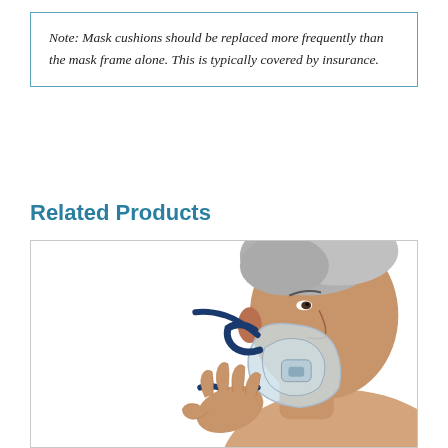Note: Mask cushions should be replaced more frequently than the mask frame alone. This is typically covered by insurance.
Related Products
[Figure (photo): A middle-aged man wearing a CPAP full-face mask with blue straps, adjusting the mask with his hand. The background is white.]